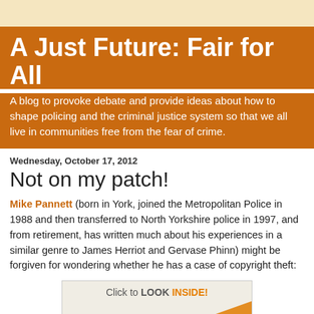A Just Future: Fair for All
A blog to provoke debate and provide ideas about how to shape policing and the criminal justice system so that we all live in communities free from the fear of crime.
Wednesday, October 17, 2012
Not on my patch!
Mike Pannett (born in York, joined the Metropolitan Police in 1988 and then transferred to North Yorkshire police in 1997, and from retirement, has written much about his experiences in a similar genre to James Herriot and Gervase Phinn) might be forgiven for wondering whether he has a case of copyright theft:
[Figure (screenshot): Book preview image with 'Click to LOOK INSIDE!' banner and partial book cover visible]